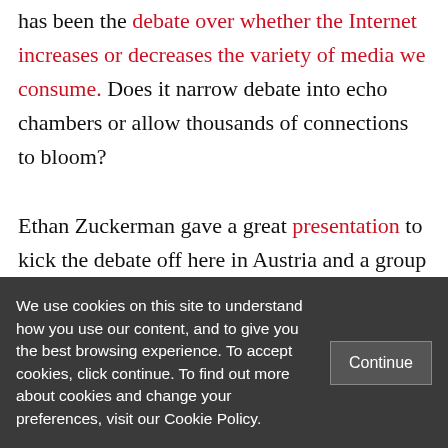has been the debate over whether the Internet increases or decreases the variety of media we consume. Does it narrow debate into echo chambers or allow thousands of connections to bloom?

Ethan Zuckerman gave a great presentation to kick the debate off here in Austria and a group of us kept that conversation going deep into the night in the Schloss Leopoldekron dining room. (Yes, it is the one
We use cookies on this site to understand how you use our content, and to give you the best browsing experience. To accept cookies, click continue. To find out more about cookies and change your preferences, visit our Cookie Policy.